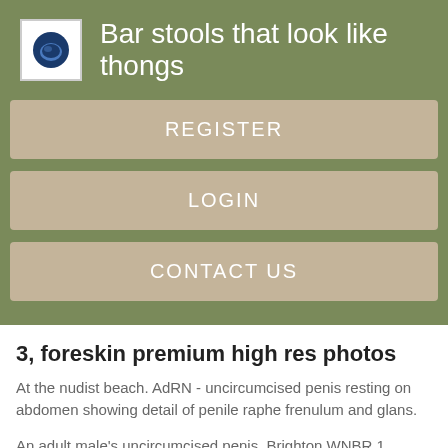Bar stools that look like thongs
REGISTER
LOGIN
CONTACT US
3, foreskin premium high res photos
At the nudist beach. AdRN - uncircumcised penis resting on abdomen showing detail of penile raphe frenulum and glans.
An adult male's uncircumcised penis. Brighton WNBR 1. Close-up penis. Closeup penis. Before trimming. Puffy nipples blog Circumference Girth Measurement of Penis. A coloured teenboy